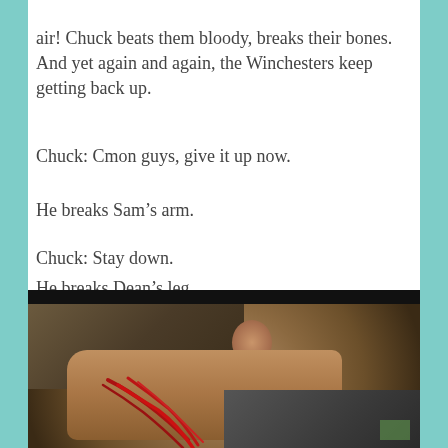air! Chuck beats them bloody, breaks their bones. And yet again and again, the Winchesters keep getting back up.
Chuck: Cmon guys, give it up now.
He breaks Sam's arm.
Chuck: Stay down.
He breaks Dean's leg.
[Figure (photo): A close-up photo of a man's face lying down, showing severe bloody wounds across his cheek and face, with short brown hair visible. The scene appears to be from a TV show.]